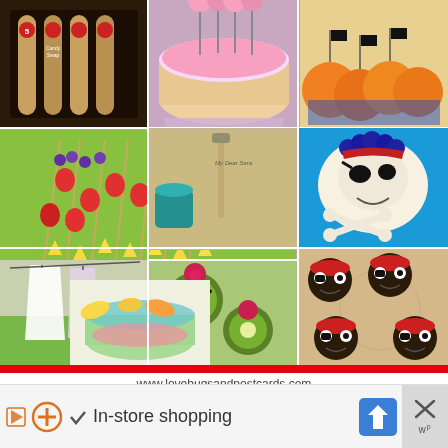[Figure (photo): Collage of pirate and fairy themed food treats including cake pops, fruit skewers, pirate skull cookies, kiwi desserts, candy tubes, and colorful party snacks]
www.lovebugsandpostcards.com
← 10 Pirate and Fairy Treats
[Figure (infographic): Advertisement bar with play icon, plus icon, checkmark, 'In-store shopping' text, map/directions icon, and close button]